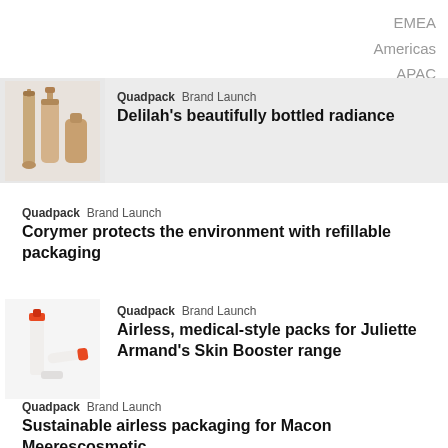EMEA
Americas
APAC
[Figure (photo): Gold/nude cosmetic bottles and containers]
Quadpack  Brand Launch
Delilah's beautifully bottled radiance
Quadpack  Brand Launch
Corymer protects the environment with refillable packaging
[Figure (photo): Orange and white airless medical-style cosmetic vials]
Quadpack  Brand Launch
Airless, medical-style packs for Juliette Armand's Skin Booster range
Quadpack  Brand Launch
Sustainable airless packaging for Macon Meerescosmetic